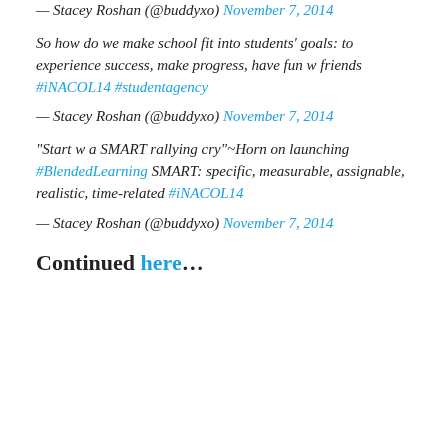— Stacey Roshan (@buddyxo) November 7, 2014
So how do we make school fit into students' goals: to experience success, make progress, have fun w friends #iNACOL14 #studentagency
— Stacey Roshan (@buddyxo) November 7, 2014
“Start w a SMART rallying cry”~Horn on launching #BlendedLearning SMART: specific, measurable, assignable, realistic, time-related #iNACOL14
— Stacey Roshan (@buddyxo) November 7, 2014
Continued here…